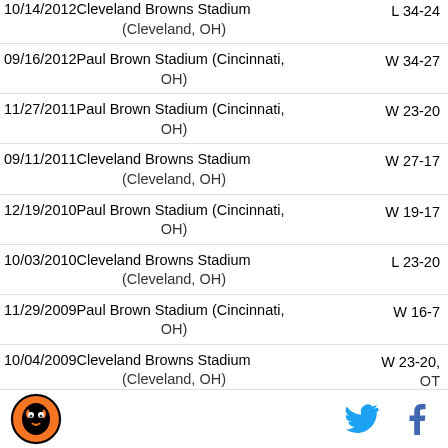| Date / Venue | Result |
| --- | --- |
| 10/14/2012 Cleveland Browns Stadium (Cleveland, OH) | L 34-24 |
| 09/16/2012 Paul Brown Stadium (Cincinnati, OH) | W 34-27 |
| 11/27/2011 Paul Brown Stadium (Cincinnati, OH) | W 23-20 |
| 09/11/2011 Cleveland Browns Stadium (Cleveland, OH) | W 27-17 |
| 12/19/2010 Paul Brown Stadium (Cincinnati, OH) | W 19-17 |
| 10/03/2010 Cleveland Browns Stadium (Cleveland, OH) | L 23-20 |
| 11/29/2009 Paul Brown Stadium (Cincinnati, OH) | W 16-7 |
| 10/04/2009 Cleveland Browns Stadium (Cleveland, OH) | W 23-20, OT |
[Figure (logo): Cincinnati Bengals team logo, circular badge with tiger head]
[Figure (other): Twitter bird icon in cyan blue]
[Figure (other): Facebook 'f' icon in dark blue]